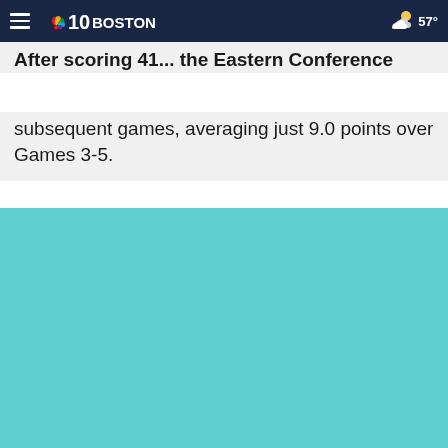NBC10 Boston — 57°
After scoring 41... the Eastern Conference
subsequent games, averaging just 9.0 points over Games 3-5.
[Figure (photo): Teal/turquoise colored image block placeholder]